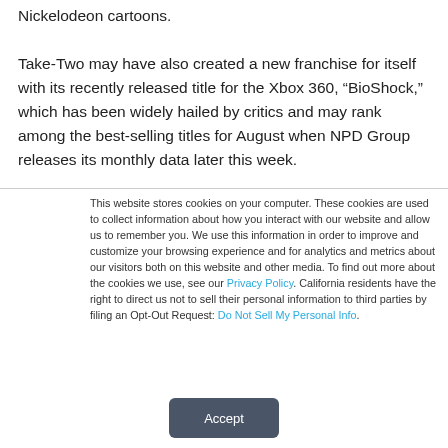Nickelodeon cartoons. Take-Two may have also created a new franchise for itself with its recently released title for the Xbox 360, “BioShock,” which has been widely hailed by critics and may rank among the best-selling titles for August when NPD Group releases its monthly data later this week.
This website stores cookies on your computer. These cookies are used to collect information about how you interact with our website and allow us to remember you. We use this information in order to improve and customize your browsing experience and for analytics and metrics about our visitors both on this website and other media. To find out more about the cookies we use, see our Privacy Policy. California residents have the right to direct us not to sell their personal information to third parties by filing an Opt-Out Request: Do Not Sell My Personal Info.
Accept